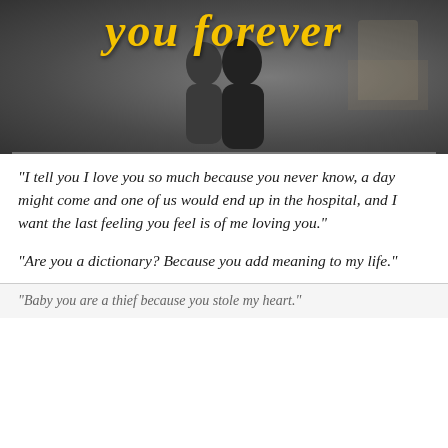[Figure (photo): A blurred/dark photo of two silhouetted figures with yellow cursive script text reading 'you forever' overlaid at the top]
“I tell you I love you so much because you never know, a day might come and one of us would end up in the hospital, and I want the last feeling you feel is of me loving you.”
“Are you a dictionary? Because you add meaning to my life.”
“Baby you are a thief because you stole my heart.”